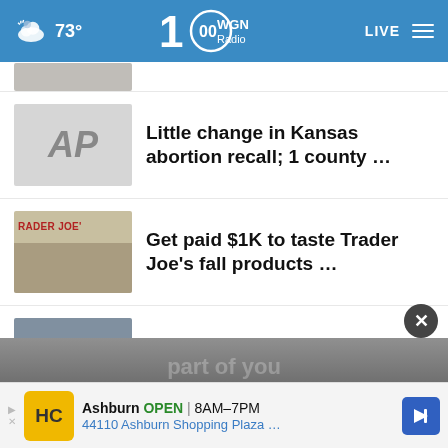73° WGN Radio LIVE
[Figure (screenshot): Partially visible news thumbnail at top]
Little change in Kansas abortion recall; 1 county …
Get paid $1K to taste Trader Joe's fall products …
Student loans are on hold — should you pay anyway?
More Stories ›
[Figure (screenshot): Advertisement banner: Ashburn OPEN 8AM–7PM, 44110 Ashburn Shopping Plaza …]